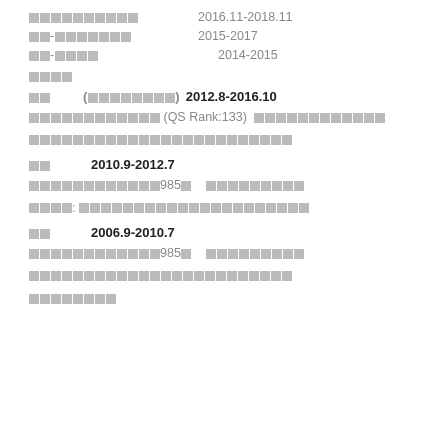██████████   2016.11-2018.11
██-███████   2015-2017
██-████   2014-2015
████
██ ( ████████ )   2012.8-2016.10
████████████ (QS Rank:133)  ████████████
████████████████████████
██   2010.9-2012.7
████████████985█   █████████
████: █████████████████████████
██   2006.9-2010.7
████████████985█   █████████
█████████████████████████
████████